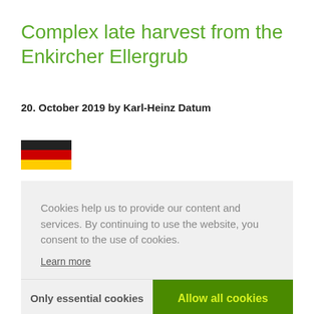Complex late harvest from the Enkircher Ellergrub
20. October 2019 by Karl-Heinz Datum
[Figure (illustration): German flag (black, red, gold horizontal stripes)]
Cookies help us to provide our content and services. By continuing to use the website, you consent to the use of cookies.
Learn more
Only essential cookies
Allow all cookies